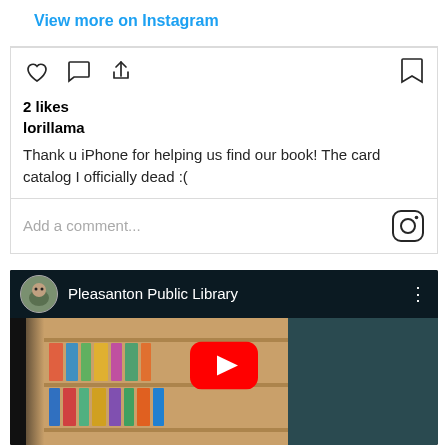View more on Instagram
[Figure (screenshot): Instagram action icons: heart (like), speech bubble (comment), share (upload arrow), and bookmark on right]
2 likes
lorillama
Thank u iPhone for helping us find our book! The card catalog I officially dead :(
Add a comment...
[Figure (screenshot): YouTube video thumbnail showing Pleasanton Public Library channel with library interior, bookshelves, and red YouTube play button in center]